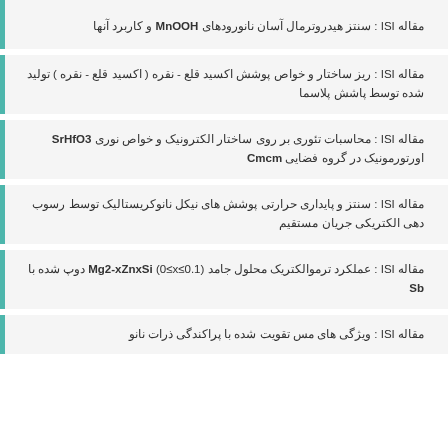مقاله ISI : سنتز هیدروترمال آسان نانورودهای MnOOH و کاربرد آنها
مقاله ISI : ریز ساختار و خواص پوشش اکسید قلع - نقره ( اکسید قلع - نقره ) تولید شده توسط پاشش پلاسما
مقاله ISI : محاسبات تئوری بر روی ساختار الکترونیک و خواص نوری SrHfO3 اورتورمونیک در گروه فضایی Cmcm
مقاله ISI : سنتز و پایداری حرارتی پوشش های نیکل نانوکریستالیک توسط رسوب دهی الکتریکی جریان مستقیم
مقاله ISI : عملکرد ترموالکتریک محلول جامد Mg2-xZnxSi (0≤x≤0.1) دوپ شده با Sb
مقاله ISI : ویژگی های مس تقویت شده با پراکندگی ذرات نانو